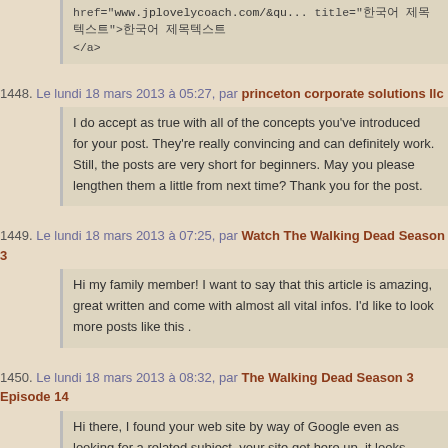href="www.jplovelycoach.com/&qu... title="한국어 제목텍스트">한국어 제목텍스트 </a>
1448. Le lundi 18 mars 2013 à 05:27, par princeton corporate solutions llc
I do accept as true with all of the concepts you've introduced for your post. They're really convincing and can definitely work. Still, the posts are very short for beginners. May you please lengthen them a little from next time? Thank you for the post.
1449. Le lundi 18 mars 2013 à 07:25, par Watch The Walking Dead Season 3
Hi my family member! I want to say that this article is amazing, great written and come with almost all vital infos. I'd like to look more posts like this .
1450. Le lundi 18 mars 2013 à 08:32, par The Walking Dead Season 3 Episode 14
Hi there, I found your web site by way of Google even as looking for a related subject, your site got here up, it looks good. I have bookmarked to favourites|added to bookmarks.
1451. Le lundi 18 mars 2013 à 08:33, par The Walking Dead Season 3